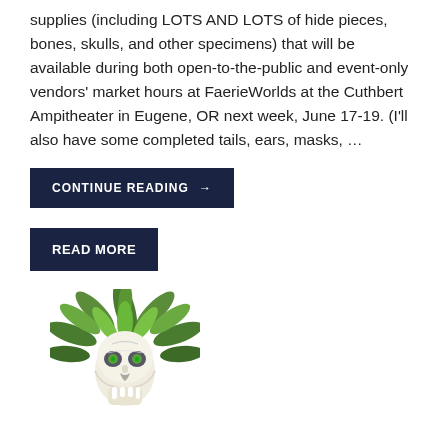supplies (including LOTS AND LOTS of hide pieces, bones, skulls, and other specimens) that will be available during both open-to-the-public and event-only vendors' market hours at FaerieWorlds at the Cuthbert Ampitheater in Eugene, OR next week, June 17-19. (I'll also have some completed tails, ears, masks, …
CONTINUE READING →
READ MORE
[Figure (logo): Green Wolf logo — a wolf skull surrounded by green leaves, illustrated]
Tarot of Bones 2022 Twelve-Month Readings Are a Go!
December 21, 2021 / luna / The Green Wolf, The Tarot of Bones